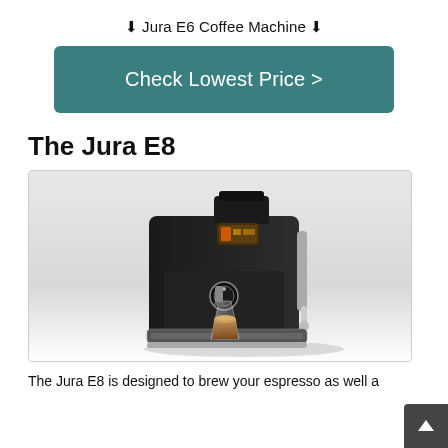⬇ Jura E6 Coffee Machine ⬇
Check Lowest Price >
The Jura E8
[Figure (photo): A Jura E8 black automatic espresso/coffee machine dispensing coffee into a glass cup, photographed on a light grey gradient background.]
The Jura E8 is designed to brew your espresso as well a